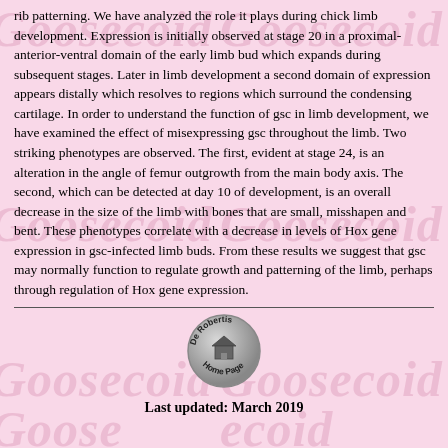rib patterning. We have analyzed the role it plays during chick limb development. Expression is initially observed at stage 20 in a proximal-anterior-ventral domain of the early limb bud which expands during subsequent stages. Later in limb development a second domain of expression appears distally which resolves to regions which surround the condensing cartilage. In order to understand the function of gsc in limb development, we have examined the effect of misexpressing gsc throughout the limb. Two striking phenotypes are observed. The first, evident at stage 24, is an alteration in the angle of femur outgrowth from the main body axis. The second, which can be detected at day 10 of development, is an overall decrease in the size of the limb with bones that are small, misshapen and bent. These phenotypes correlate with a decrease in levels of Hox gene expression in gsc-infected limb buds. From these results we suggest that gsc may normally function to regulate growth and patterning of the limb, perhaps through regulation of Hox gene expression.
[Figure (logo): De Robertis Home Page circular badge with house icon]
Last updated: March 2019